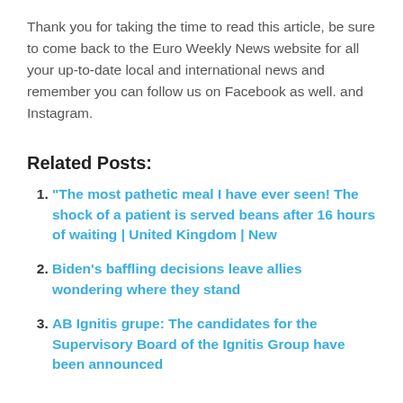Thank you for taking the time to read this article, be sure to come back to the Euro Weekly News website for all your up-to-date local and international news and remember you can follow us on Facebook as well. and Instagram.
Related Posts:
“The most pathetic meal I have ever seen! The shock of a patient is served beans after 16 hours of waiting | United Kingdom | New
Biden’s baffling decisions leave allies wondering where they stand
AB Ignitis grupe: The candidates for the Supervisory Board of the Ignitis Group have been announced